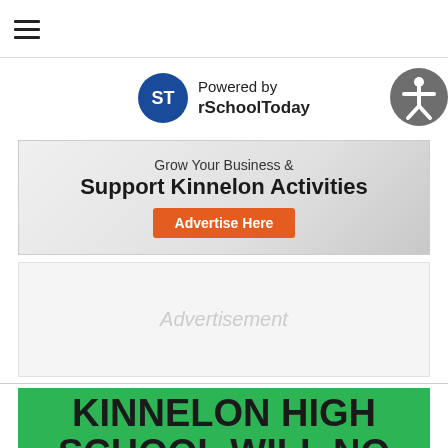☰ (hamburger menu)
[Figure (logo): rSchoolToday logo — blue circle with white S and T letters, beside text 'Powered by rSchoolToday']
[Figure (infographic): Advertisement banner: 'Grow Your Business & Support Kinnelon Activities — Advertise Here' button in orange]
[Figure (other): Advertisement placeholder box with light gray background and 'Advertisement' watermark text]
KINNELON HIGH SCHOOL WILL NO LONGER BE USING THE